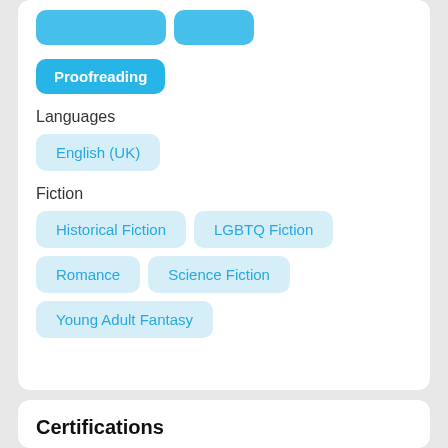Proofreading
Languages
English (UK)
Fiction
Historical Fiction
LGBTQ Fiction
Romance
Science Fiction
Young Adult Fantasy
Certifications